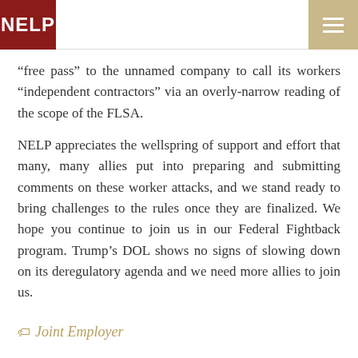NELP
“free pass” to the unnamed company to call its workers “independent contractors” via an overly-narrow reading of the scope of the FLSA.

NELP appreciates the wellspring of support and effort that many, many allies put into preparing and submitting comments on these worker attacks, and we stand ready to bring challenges to the rules once they are finalized. We hope you continue to join us in our Federal Fightback program. Trump’s DOL shows no signs of slowing down on its deregulatory agenda and we need more allies to join us.
Joint Employer